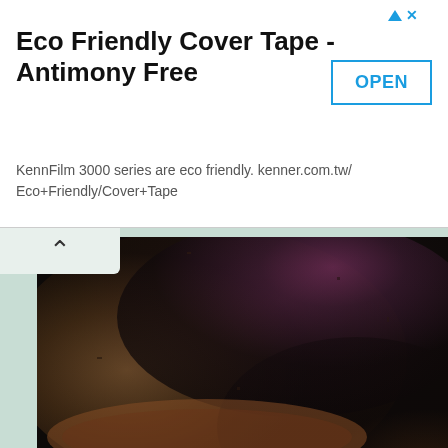[Figure (screenshot): Advertisement banner: Eco Friendly Cover Tape - Antimony Free, with OPEN button and URL kenner.com.tw/Eco+Friendly/Cover+Tape]
[Figure (photo): Close-up photo of a plant in a terracotta pot showing dark soil and purple/pink plant material with watermark schusterpalmen.de]
[Figure (photo): Photo of green leafy plants (Aspidistra or similar) in a plastic pot on what appears to be a cardboard surface]